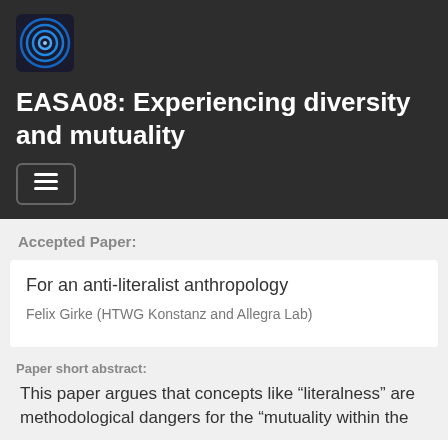[Figure (logo): Circular logo with blue concentric rings on dark background]
EASA08: Experiencing diversity and mutuality
[Figure (other): Hamburger menu button with three horizontal lines]
Accepted Paper:
For an anti-literalist anthropology
Felix Girke (HTWG Konstanz and Allegra Lab)
Paper short abstract:
This paper argues that concepts like “literalness” are methodological dangers for the “mutuality within the